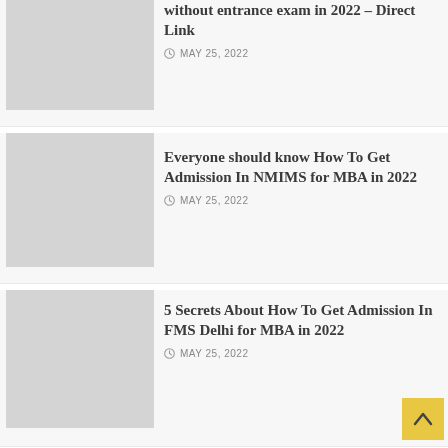without entrance exam in 2022 – Direct Link
MAY 25, 2022
[Figure (photo): Grey placeholder thumbnail image for first article]
Everyone should know How To Get Admission In NMIMS for MBA in 2022
MAY 25, 2022
[Figure (photo): Grey placeholder thumbnail image for second article]
5 Secrets About How To Get Admission In FMS Delhi for MBA in 2022
MAY 25, 2022
[Figure (photo): Grey placeholder thumbnail image for third article]
[Figure (photo): Grey placeholder thumbnail image for fourth (partial) article]